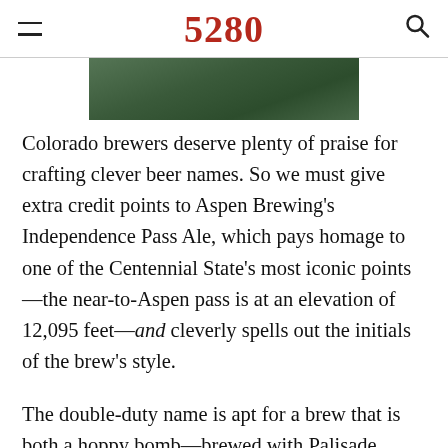5280
[Figure (photo): Partial image of green foliage or hops, cropped at the top of the article]
Colorado brewers deserve plenty of praise for crafting clever beer names. So we must give extra credit points to Aspen Brewing's Independence Pass Ale, which pays homage to one of the Centennial State's most iconic points—the near-to-Aspen pass is at an elevation of 12,095 feet—and cleverly spells out the initials of the brew's style.
The double-duty name is apt for a brew that is both a hoppy bomb—brewed with Palisade, Columbus, Cascade, and Simcoe hops—and a surprisingly